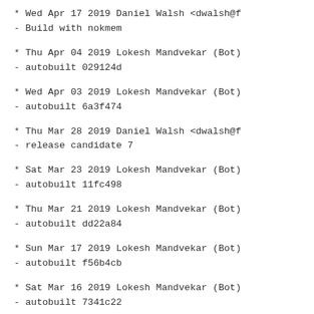* Wed Apr 17 2019 Daniel Walsh <dwalsh@f
- Build with nokmem
* Thu Apr 04 2019 Lokesh Mandvekar (Bot)
- autobuilt 029124d
* Wed Apr 03 2019 Lokesh Mandvekar (Bot)
- autobuilt 6a3f474
* Thu Mar 28 2019 Daniel Walsh <dwalsh@f
- release candidate 7
* Sat Mar 23 2019 Lokesh Mandvekar (Bot)
- autobuilt 11fc498
* Thu Mar 21 2019 Lokesh Mandvekar (Bot)
- autobuilt dd22a84
* Sun Mar 17 2019 Lokesh Mandvekar (Bot)
- autobuilt f56b4cb
* Sat Mar 16 2019 Lokesh Mandvekar (Bot)
- autobuilt 7341c22